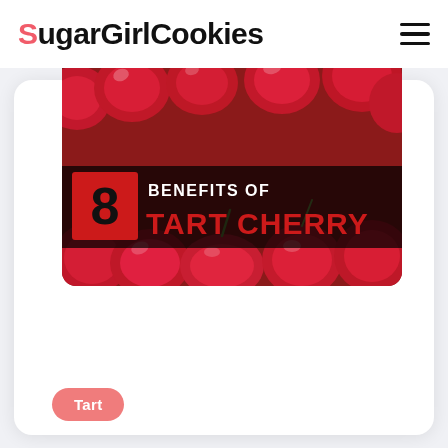SugarGirlCookies
[Figure (infographic): Infographic image of red tart cherries filling the frame, with a bold overlay text reading '8 BENEFITS OF TART CHERRY'. The number 8 appears in a red square box on the left, followed by 'BENEFITS OF' in white text and 'TART CHERRY' in large red bold text.]
Tart